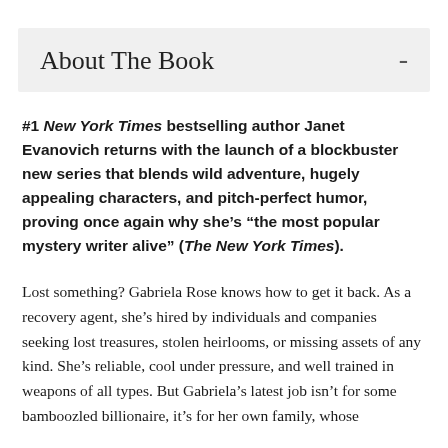About The Book
#1 New York Times bestselling author Janet Evanovich returns with the launch of a blockbuster new series that blends wild adventure, hugely appealing characters, and pitch-perfect humor, proving once again why she’s “the most popular mystery writer alive” (The New York Times).
Lost something? Gabriela Rose knows how to get it back. As a recovery agent, she’s hired by individuals and companies seeking lost treasures, stolen heirlooms, or missing assets of any kind. She’s reliable, cool under pressure, and well trained in weapons of all types. But Gabriela’s latest job isn’t for some bamboozled billionaire, it’s for her own family, whose